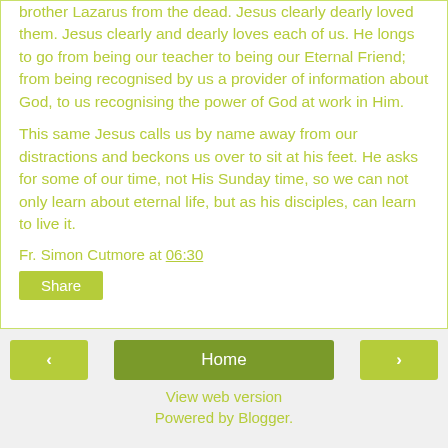brother Lazarus from the dead. Jesus clearly dearly loved them. Jesus clearly and dearly loves each of us. He longs to go from being our teacher to being our Eternal Friend; from being recognised by us a provider of information about God, to us recognising the power of God at work in Him.
This same Jesus calls us by name away from our distractions and beckons us over to sit at his feet. He asks for some of our time, not His Sunday time, so we can not only learn about eternal life, but as his disciples, can learn to live it.
Fr. Simon Cutmore at 06:30
Share
‹   Home   › View web version Powered by Blogger.